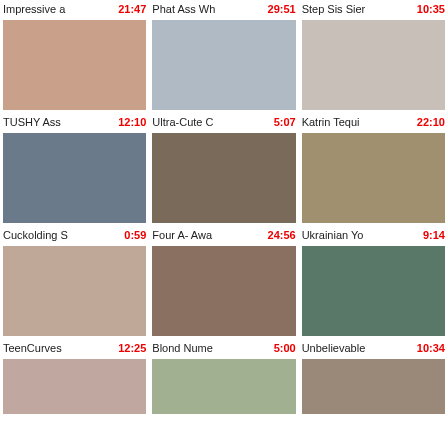[Figure (screenshot): Video thumbnail grid showing adult video listings with titles and durations]
Impressive a - 21:47
Phat Ass Wh - 29:51
Step Sis Sier - 10:35
TUSHY Ass - 12:10
Ultra-Cute C - 5:07
Katrin Tequi - 22:10
Cuckolding S - 0:59
Four A- Awa - 24:56
Ukrainian Yo - 9:14
TeenCurves - 12:25
Blond Nume - 5:00
Unbelievable - 10:34